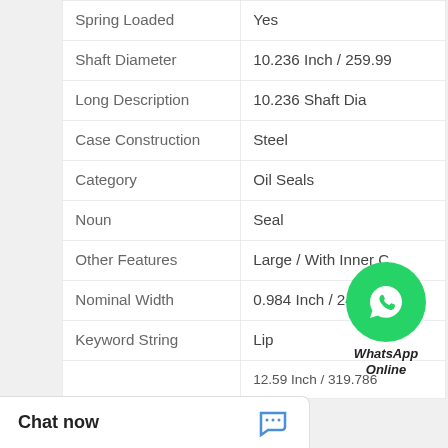| Property | Value |
| --- | --- |
| Spring Loaded | Yes |
| Shaft Diameter | 10.236 Inch / 259.99 |
| Long Description | 10.236 Shaft Dia |
| Case Construction | Steel |
| Category | Oil Seals |
| Noun | Seal |
| Other Features | Large / With Inner C |
| Nominal Width | 0.984 Inch / 24.994 |
| Keyword String | Lip |
| Housing Bore | 12.59 Inch / 319.786 |
[Figure (logo): WhatsApp Online widget with green phone icon and text 'WhatsApp Online']
Chat now